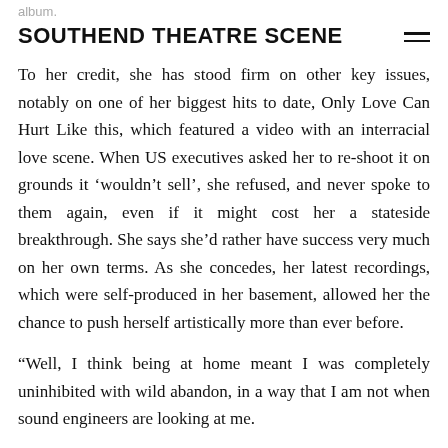album.
SOUTHEND THEATRE SCENE
To her credit, she has stood firm on other key issues, notably on one of her biggest hits to date, Only Love Can Hurt Like this, which featured a video with an interracial love scene. When US executives asked her to re-shoot it on grounds it 'wouldn't sell', she refused, and never spoke to them again, even if it might cost her a stateside breakthrough. She says she'd rather have success very much on her own terms. As she concedes, her latest recordings, which were self-produced in her basement, allowed her the chance to push herself artistically more than ever before.
“Well, I think being at home meant I was completely uninhibited with wild abandon, in a way that I am not when sound engineers are looking at me.